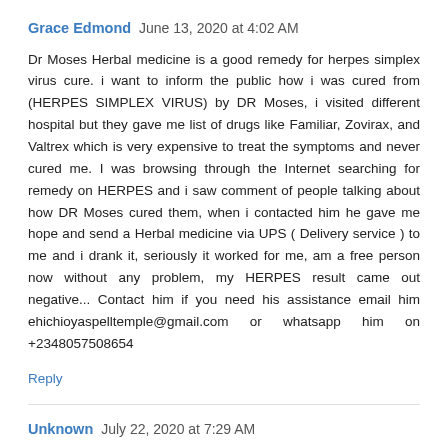Grace Edmond  June 13, 2020 at 4:02 AM
Dr Moses Herbal medicine is a good remedy for herpes simplex virus cure. i want to inform the public how i was cured from (HERPES SIMPLEX VIRUS) by DR Moses, i visited different hospital but they gave me list of drugs like Familiar, Zovirax, and Valtrex which is very expensive to treat the symptoms and never cured me. I was browsing through the Internet searching for remedy on HERPES and i saw comment of people talking about how DR Moses cured them, when i contacted him he gave me hope and send a Herbal medicine via UPS ( Delivery service ) to me and i drank it, seriously it worked for me, am a free person now without any problem, my HERPES result came out negative... Contact him if you need his assistance email him ehichioyaspelltemple@gmail.com or whatsapp him on +2348057508654
Reply
Unknown  July 22, 2020 at 7:29 AM